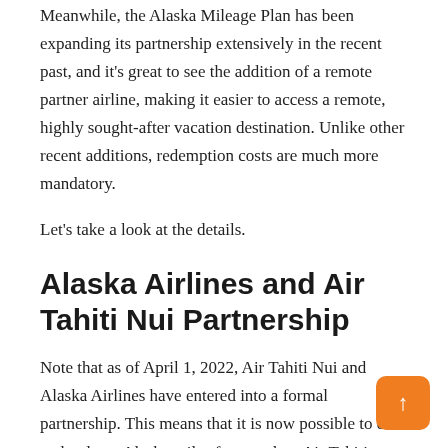Meanwhile, the Alaska Mileage Plan has been expanding its partnership extensively in the recent past, and it's great to see the addition of a remote partner airline, making it easier to access a remote, highly sought-after vacation destination. Unlike other recent additions, redemption costs are much more mandatory.
Let's take a look at the details.
Alaska Airlines and Air Tahiti Nui Partnership
Note that as of April 1, 2022, Air Tahiti Nui and Alaska Airlines have entered into a formal partnership. This means that it is now possible to earn and redeem Alaska miles for travel on Air Tahiti